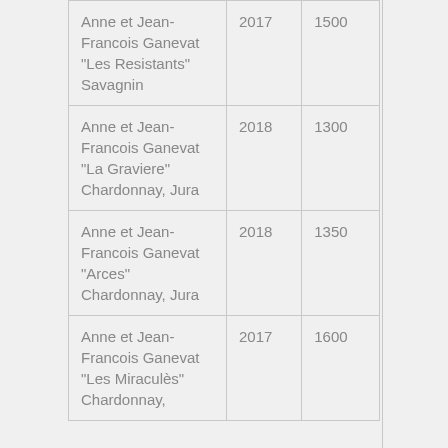| Anne et Jean-Francois Ganevat "Les Resistants" Savagnin | 2017 | 1500 |
| Anne et Jean-Francois Ganevat "La Graviere" Chardonnay, Jura | 2018 | 1300 |
| Anne et Jean-Francois Ganevat "Arces" Chardonnay, Jura | 2018 | 1350 |
| Anne et Jean-Francois Ganevat "Les Miraculès" Chardonnay, ... | 2017 | 1600 |